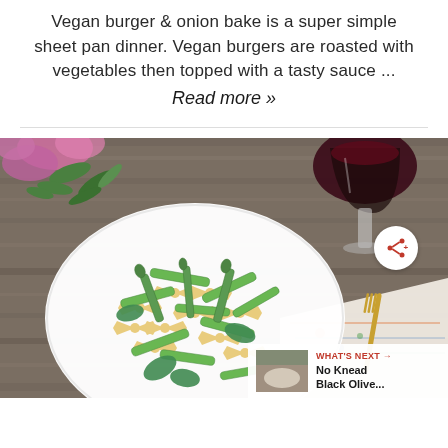Vegan burger & onion bake is a super simple sheet pan dinner. Vegan burgers are roasted with vegetables then topped with a tasty sauce ...
Read more »
[Figure (photo): A white plate of bow-tie pasta (farfalle) with green vegetables including snap peas, asparagus, and basil leaves, on a rustic wooden table with a glass of red wine, pink flowers, greenery, a colorful napkin, and gold fork visible. A share icon button overlays the image. A 'What's Next' bar shows a thumbnail and text 'No Knead Black Olive...' in the bottom right.]